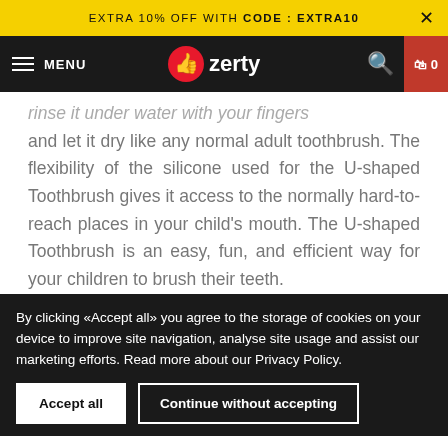EXTRA 10% OFF WITH CODE : EXTRA10
[Figure (logo): Ozerty website navigation bar with hamburger menu, Ozerty logo (red thumbs-up icon with 'zerty' text), search icon, and cart icon showing 0 items]
rinse it under water with your fingers and let it dry like any normal adult toothbrush. The flexibility of the silicone used for the U-shaped Toothbrush gives it access to the normally hard-to-reach places in your child's mouth. The U-shaped Toothbrush is an easy, fun, and efficient way for your children to brush their teeth.
By clicking «Accept all» you agree to the storage of cookies on your device to improve site navigation, analyse site usage and assist our marketing efforts. Read more about our Privacy Policy.
Accept all
Continue without accepting